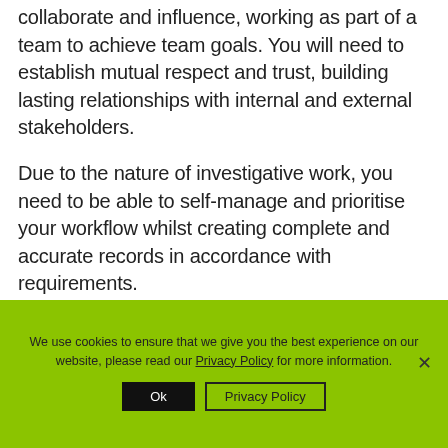collaborate and influence, working as part of a team to achieve team goals. You will need to establish mutual respect and trust, building lasting relationships with internal and external stakeholders.
Due to the nature of investigative work, you need to be able to self-manage and prioritise your workflow whilst creating complete and accurate records in accordance with requirements.
We use cookies to ensure that we give you the best experience on our website, please read our Privacy Policy for more information.